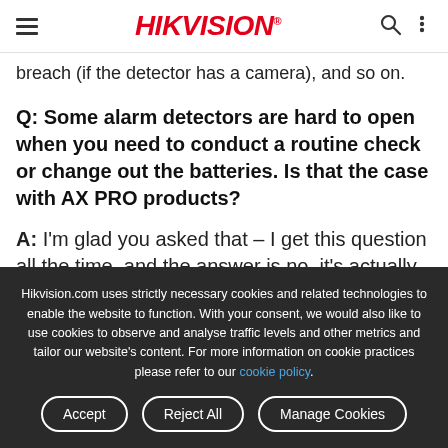HIKVISION
breach (if the detector has a camera), and so on.
Q: Some alarm detectors are hard to open when you need to conduct a routine check or change out the batteries. Is that the case with AX PRO products?
A: I'm glad you asked that – I get this question all the time, and the answer is no, it's actually very easy to get
Hikvision.com uses strictly necessary cookies and related technologies to enable the website to function. With your consent, we would also like to use cookies to observe and analyse traffic levels and other metrics and tailor our website's content. For more information on cookie practices please refer to our cookie policy.
Accept
Reject All
Manage Cookies